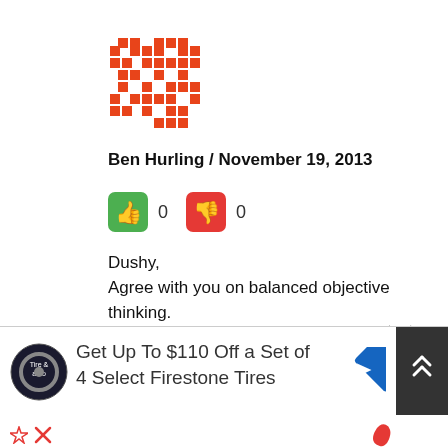[Figure (illustration): Orange/red pixelated avatar icon resembling a QR-code-style pattern]
Ben Hurling / November 19, 2013
[Figure (infographic): Green thumbs-up button showing 0 votes and red thumbs-down button showing 0 votes]
Dushy,
Agree with you on balanced objective thinking.
However, Tamil Sri Lankans are as bad as their Sinhalese brethren, if not worse, in that department.
Thinking objectively is an uphill task
[Figure (infographic): Advertisement banner: Get Up To $110 Off a Set of 4 Select Firestone Tires with Tire & Auto logo and navigation arrow icon]